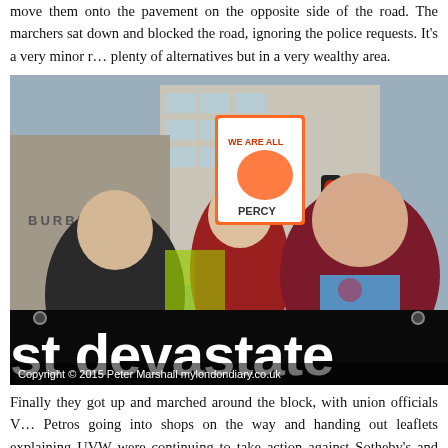move them onto the pavement on the opposite side of the road. The marchers sat down and blocked the road, ignoring the police requests. It's a very minor road with plenty of alternatives but in a very wealthy area.
[Figure (photo): Protest march photograph showing demonstrators carrying a large black banner reading 'st devastate' (partially visible). People include a man in a West Ham football shirt shouting, a woman in red holding a sign reading 'WE ARE ALL PERCY', and another man in a black leather jacket. A Burberry store is visible in the background. Copyright 2015 Peter Marshall mylondondiary.co.uk]
Copyright © 2015 Peter Marshall mylondondiary.co.uk
Finally they got up and marched around the block, with union officials V... Petros going into shops on the way and handing out leaflets explaining UVW were continuing to take action against Sotheby's and asking shop ow... workers to complain to them. Police harassed them and tried to stop them d...